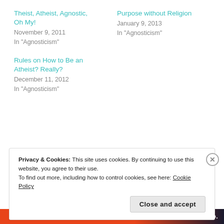Theist, Atheist, Agnostic, Oh My!
November 9, 2011
In "Agnosticism"
Purpose without Religion
January 9, 2013
In "Agnosticism"
Rules on How to Be an Atheist? Really?
December 11, 2012
In "Agnosticism"
Tagged agnosticism, atheism, humanism, morality, religion
Privacy & Cookies: This site uses cookies. By continuing to use this website, you agree to their use.
To find out more, including how to control cookies, see here: Cookie Policy
Close and accept